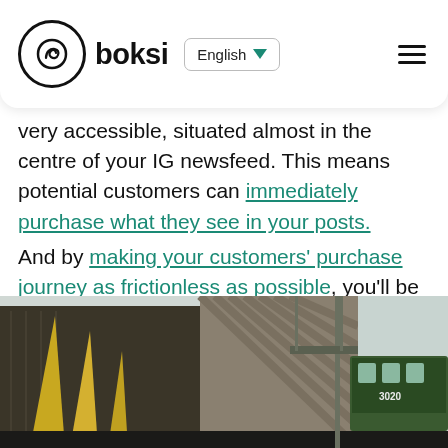boksi — English (navigation bar with logo and language selector)
very accessible, situated almost in the centre of your IG newsfeed. This means potential customers can immediately purchase what they see in your posts.
And by making your customers' purchase journey as frictionless as possible, you'll be well-positioned to win their loyalty. Instagram is constantly releasing new features to help connect consumers with the products they need, so make sure you utilize new features when they come out.
[Figure (photo): Street-level photograph showing yellow architectural elements (possibly fins or sculptures) in front of a modern commercial building, with a green bus or tram labeled 3020 visible on the right side. Urban setting with overcast sky.]